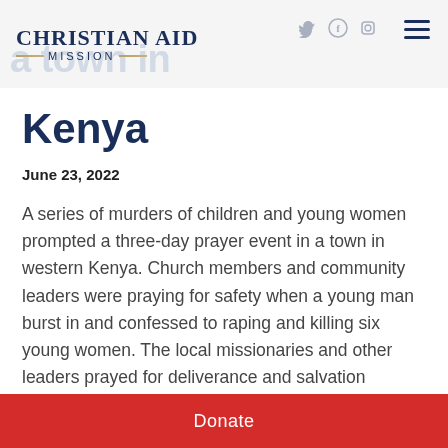Christian Aid Mission
Kenya
June 23, 2022
A series of murders of children and young women prompted a three-day prayer event in a town in western Kenya. Church members and community leaders were praying for safety when a young man burst in and confessed to raping and killing six young women. The local missionaries and other leaders prayed for deliverance and salvation
Donate